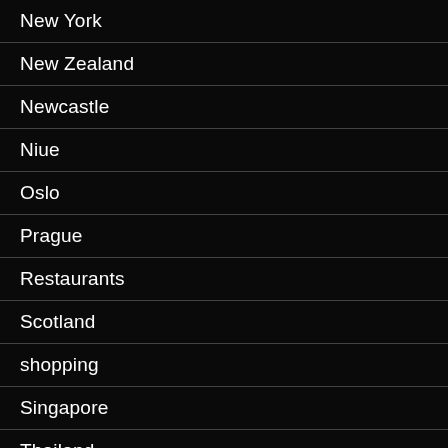New York
New Zealand
Newcastle
Niue
Oslo
Prague
Restaurants
Scotland
shopping
Singapore
Thailand
Theatre Reviews